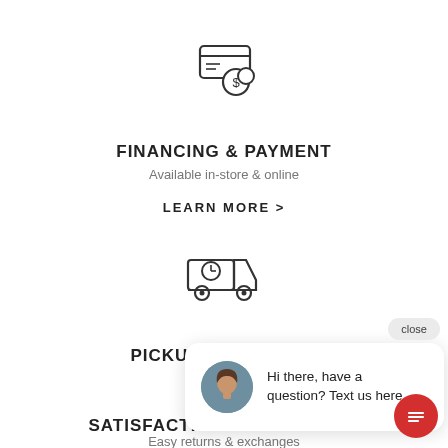[Figure (illustration): Icon of a payment card with a dollar coin, outlined style]
FINANCING & PAYMENT
Available in-store & online
LEARN MORE  >
[Figure (illustration): Icon of a delivery truck with a clock, outlined style]
PICKUP & DELIVERY
close
[Figure (illustration): Chat popup with avatar of a woman and text: Hi there, have a question? Text us here.]
[Figure (illustration): Icon of a person with a heart, outlined style, representing satisfaction]
SATISFACTION GUARANTEED
Easy returns & exchanges